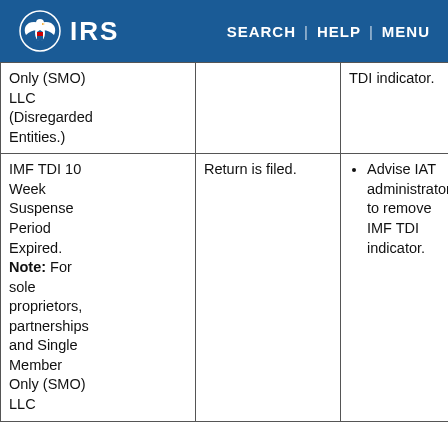IRS | SEARCH | HELP | MENU
| Condition | Status | Action |
| --- | --- | --- |
| Only (SMO) LLC (Disregarded Entities.) |  | TDI indicator. |
| IMF TDI 10 Week Suspense Period Expired. Note: For sole proprietors, partnerships and Single Member Only (SMO) LLC | Return is filed. | Advise IAT administrator to remove IMF TDI indicator. |